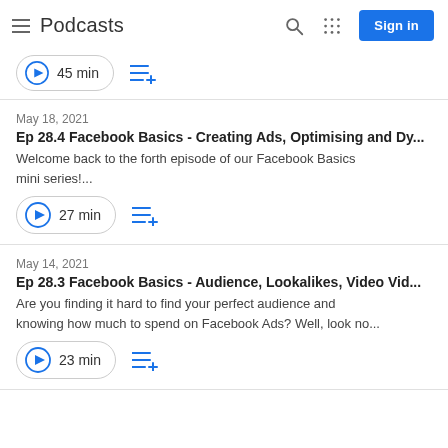Podcasts
45 min
May 18, 2021
Ep 28.4 Facebook Basics - Creating Ads, Optimising and Dy...
Welcome back to the forth episode of our Facebook Basics mini series!...
27 min
May 14, 2021
Ep 28.3 Facebook Basics - Audience, Lookalikes, Video Vid...
Are you finding it hard to find your perfect audience and knowing how much to spend on Facebook Ads? Well, look no...
23 min